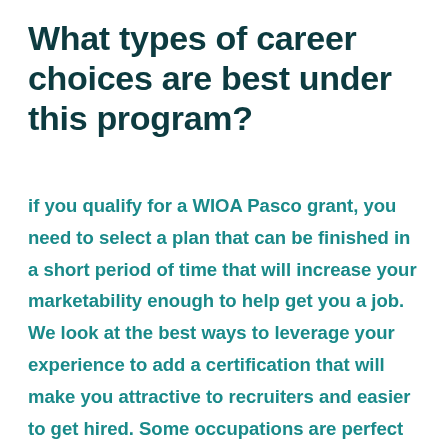What types of career choices are best under this program?
if you qualify for a WIOA Pasco grant, you need to select a plan that can be finished in a short period of time that will increase your marketability enough to help get you a job. We look at the best ways to leverage your experience to add a certification that will make you attractive to recruiters and easier to get hired. Some occupations are perfect for this: cyber-security, information technology, project management, business analyst, human resources, executive secretaries and administrative assistants